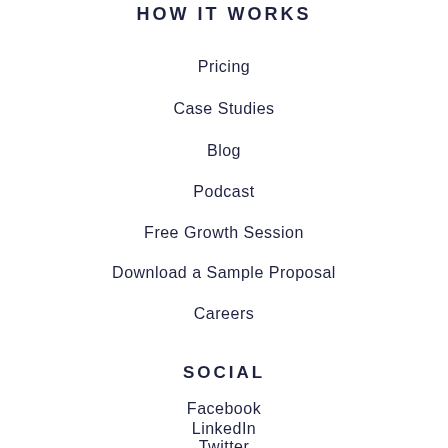HOW IT WORKS
Pricing
Case Studies
Blog
Podcast
Free Growth Session
Download a Sample Proposal
Careers
SOCIAL
Facebook
LinkedIn
Twitter